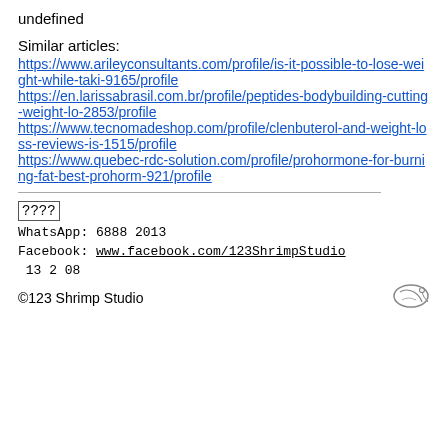undefined
Similar articles:
https://www.arileyconsultants.com/profile/is-it-possible-to-lose-weight-while-taki-9165/profile
https://en.larissabrasil.com.br/profile/peptides-bodybuilding-cutting-weight-lo-2853/profile
https://www.tecnomadeshop.com/profile/clenbuterol-and-weight-loss-reviews-is-1515/profile
https://www.quebec-rdc-solution.com/profile/prohormone-for-burning-fat-best-prohorm-921/profile
????
WhatsApp: 6888 2013
Facebook: www.facebook.com/123ShrimpStudio
13 2 08
©123 Shrimp Studio